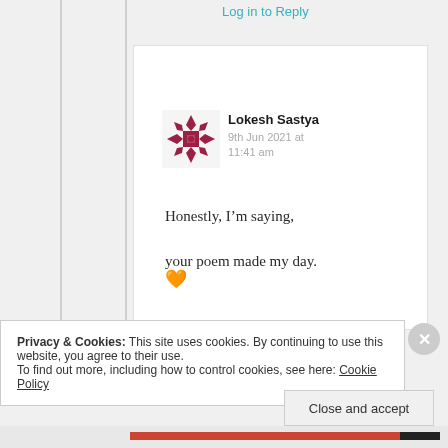Log in to Reply
[Figure (illustration): Red decorative geometric snowflake/quilt pattern avatar icon for user Lokesh Sastya]
Lokesh Sastya
9th Jun 2021 at 11:41 am
Honestly, I’m saying, your poem made my day. 🧡
Privacy & Cookies: This site uses cookies. By continuing to use this website, you agree to their use.
To find out more, including how to control cookies, see here: Cookie Policy
Close and accept